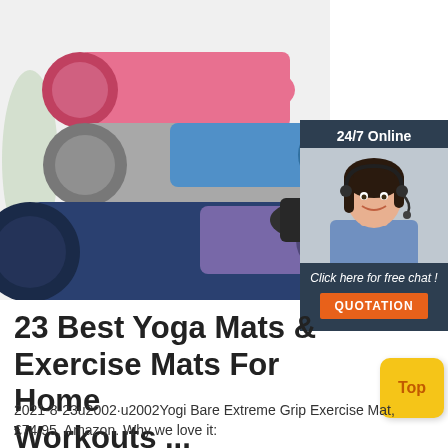[Figure (photo): Stack of rolled yoga mats in various colors: pink, gray, blue, navy, purple, and black, arranged on a white background]
[Figure (infographic): 24/7 Online chat widget with a smiling woman wearing a headset, dark navy background, text 'Click here for free chat!' and an orange QUOTATION button]
23 Best Yoga Mats & Exercise Mats For Home Workouts ...
2021-8-23u2002·u2002Yogi Bare Extreme Grip Exercise Mat, £74.95, Amazon. Why we love it: Mat only, but this is a great buy online, for